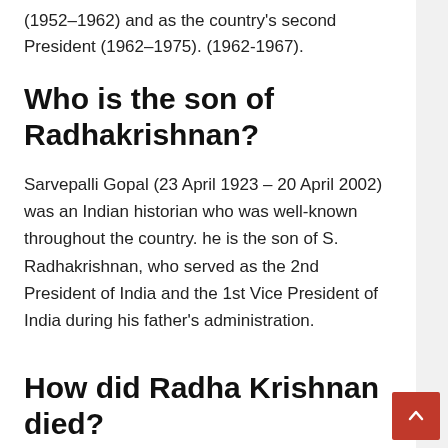(1952–1962) and as the country's second President (1962–1975). (1962-1967).
Who is the son of Radhakrishnan?
Sarvepalli Gopal (23 April 1923 – 20 April 2002) was an Indian historian who was well-known throughout the country. he is the son of S. Radhakrishnan, who served as the 2nd President of India and the 1st Vice President of India during his father's administration.
How did Radha Krishnan died?